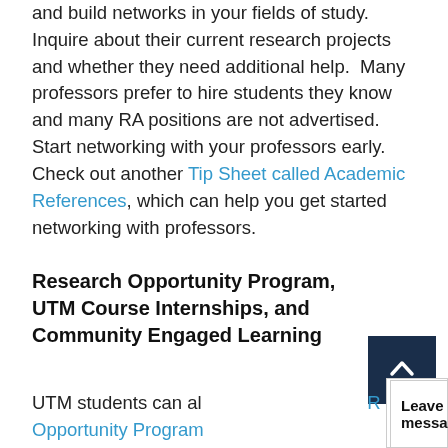and build networks in your fields of study. Inquire about their current research projects and whether they need additional help. Many professors prefer to hire students they know and many RA positions are not advertised. Start networking with your professors early. Check out another Tip Sheet called Academic References, which can help you get started networking with professors.
Research Opportunity Program, UTM Course Internships, and Community Engaged Learning
UTM students can also participate in the Research Opportunity Program